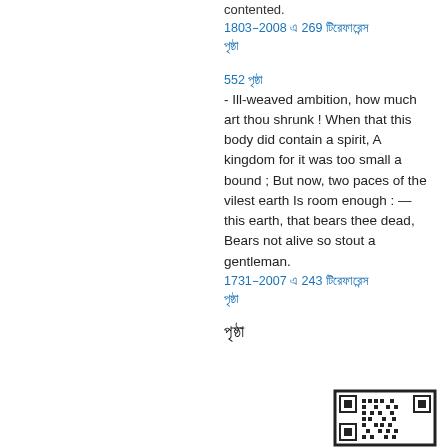contented.
1803–2008 এ 269 টিরেফারেন্স পৃষ্ঠা
552 পৃষ্ঠা - Ill-weaved ambition, how much art thou shrunk ! When that this body did contain a spirit, A kingdom for it was too small a bound ; But now, two paces of the vilest earth Is room enough : — this earth, that bears thee dead, Bears not alive so stout a gentleman.
1731–2007 এ 243 টিরেফারেন্স পৃষ্ঠা
পৃষ্ঠা
[Figure (other): QR code partial view at bottom right]